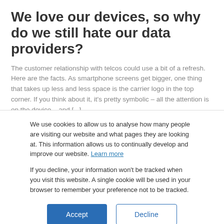We love our devices, so why do we still hate our data providers?
The customer relationship with telcos could use a bit of a refresh. Here are the facts. As smartphone screens get bigger, one thing that takes up less and less space is the carrier logo in the top corner. If you think about it, it's pretty symbolic – all the attention is on the device... and [...]
We use cookies to allow us to analyse how many people are visiting our website and what pages they are looking at. This information allows us to continually develop and improve our website. Learn more
If you decline, your information won't be tracked when you visit this website. A single cookie will be used in your browser to remember your preference not to be tracked.